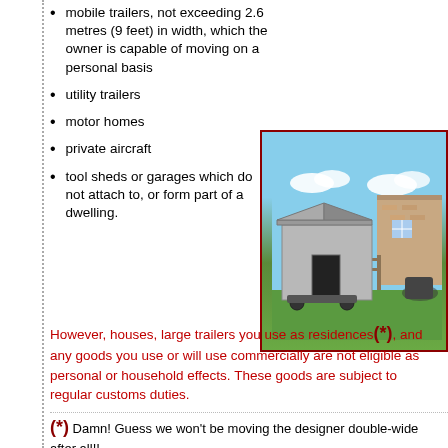mobile trailers, not exceeding 2.6 metres (9 feet) in width, which the owner is capable of moving on a personal basis
utility trailers
motor homes
private aircraft
tool sheds or garages which do not attach to, or form part of a dwelling.
[Figure (photo): Photo of a metal tool shed on wheels in a backyard with a brick house in the background]
However, houses, large trailers you use as residences(*), and any goods you use or will use commercially are not eligible as personal or household effects. These goods are subject to regular customs duties.
(*) Damn! Guess we won't be moving the designer double-wide after all!!